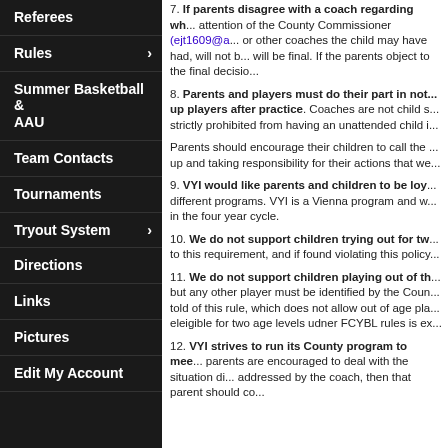Referees
Rules
Summer Basketball & AAU
Team Contacts
Tournaments
Tryout System
Directions
Links
Pictures
Edit My Account
7. If parents disagree with a coach regarding wh... attention of the County Commissioner (ejt1609@a... or other coaches the child may have had, will not b... will be final. If the parents object to the final decisio...
8. Parents and players must do their part in not... up players after practice. Coaches are not child s... strictly prohibited from having an unattended child i...
Parents should encourage their children to call the ... up and taking responsibility for their actions that we...
9. VYI would like parents and children to be loy... different programs. VYI is a Vienna program and w... in the four year cycle.
10. We do not support children trying out for tw... to this requirement, and if found violating this policy...
11. We do not support children playing out of th... but any other player must be identified by the Coun... told of this rule, which does not allow out of age pla... eleigible for two age levels udner FCYBL rules is ex...
12. VYI strives to run its County program to mee... parents are encouraged to deal with the situation di... addressed by the coach, then that parent should co...